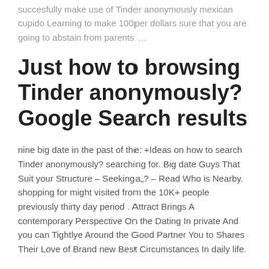succesfully make use of Tinder anonymously mexican cupido Learning to make 100per dollars sure that you are going to abstain from parents …
Just how to browsing Tinder anonymously? Google Search results
nine big date in the past of the: +Ideas on how to search Tinder anonymously? searching for. Big date Guys That Suit your Structure – Seekinga„? – Read Who is Nearby. shopping for might visited from the 10K+ people previously thirty day period . Attract Brings A contemporary Perspective On the Dating In private And you can Tightlye Around the Good Partner You to Shares Their Love of Brand new Best Circumstances In daily life.